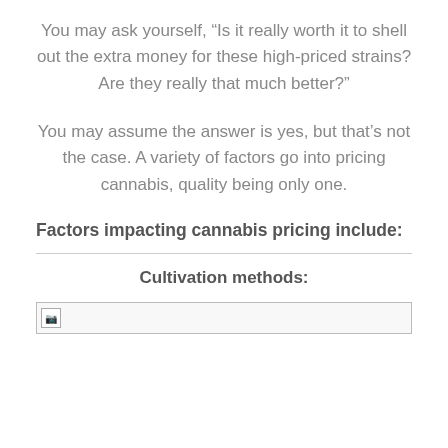You may ask yourself, “Is it really worth it to shell out the extra money for these high-priced strains? Are they really that much better?”
You may assume the answer is yes, but that’s not the case. A variety of factors go into pricing cannabis, quality being only one.
Factors impacting cannabis pricing include:
Cultivation methods:
[Figure (photo): Broken/missing image placeholder at the bottom of the page]